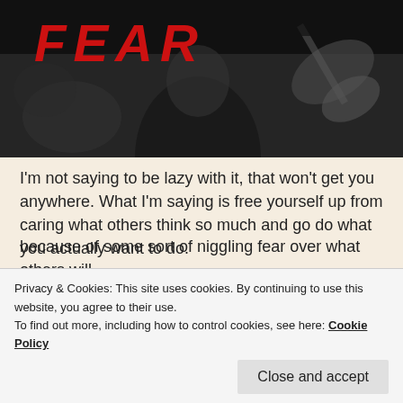[Figure (photo): Black and white photo of a band/musician performing, with the word FEAR in large red italic text overlaid at top left. Guitars and drum kit visible in background.]
I'm not saying to be lazy with it, that won't get you anywhere. What I'm saying is free yourself up from caring what others think so much and go do what you actually want to do.
Tap in to your go-getting side (which might be deeply buried at this point by the way) that doesn't care about failing and just be happy that you are out there trying in
Privacy & Cookies: This site uses cookies. By continuing to use this website, you agree to their use. To find out more, including how to control cookies, see here: Cookie Policy
Close and accept
because of some sort of niggling fear over what others will